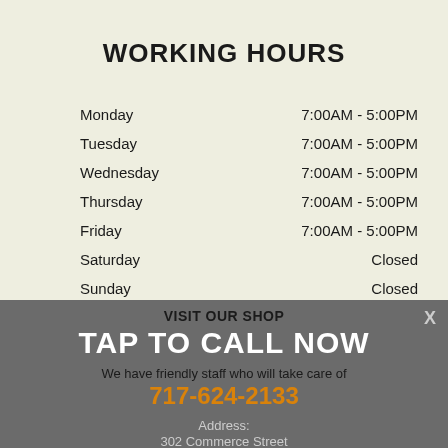WORKING HOURS
| Day | Hours |
| --- | --- |
| Monday | 7:00AM - 5:00PM |
| Tuesday | 7:00AM - 5:00PM |
| Wednesday | 7:00AM - 5:00PM |
| Thursday | 7:00AM - 5:00PM |
| Friday | 7:00AM - 5:00PM |
| Saturday | Closed |
| Sunday | Closed |
VISIT OUR SHOP
TAP TO CALL NOW
We have friendly staff who will take care of
717-624-2133
Address:
302 Commerce Street